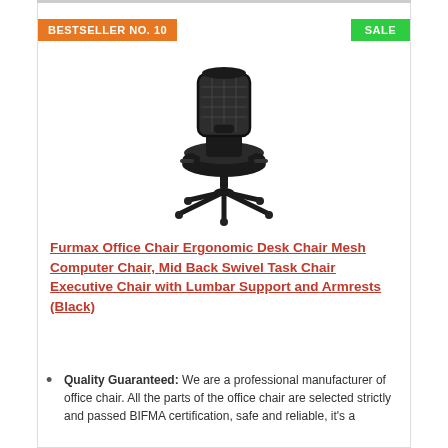BESTSELLER NO. 10
SALE
[Figure (photo): Black mesh ergonomic office chair with mid back, armrests, and five-star base with casters]
Furmax Office Chair Ergonomic Desk Chair Mesh Computer Chair, Mid Back Swivel Task Chair Executive Chair with Lumbar Support and Armrests (Black)
Quality Guaranteed: We are a professional manufacturer of office chair. All the parts of the office chair are selected strictly and passed BIFMA certification, safe and reliable, it's a